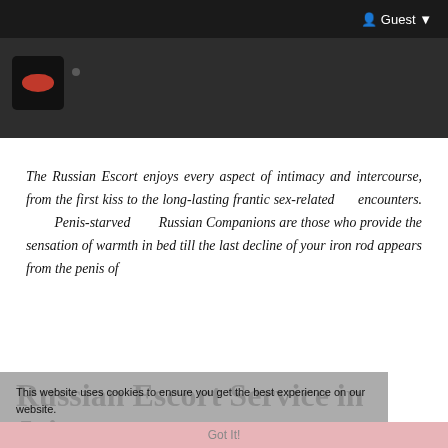Guest
[Figure (photo): Dark background hero image with a red logo/icon on the left]
The Russian Escort enjoys every aspect of intimacy and intercourse, from the first kiss to the long-lasting frantic sex-related encounters. Penis-starved Russian Companions are those who provide the sensation of warmth in bed till the last decline of your iron rod appears from the penis of
Russian Escort Service in Jaipur
This website uses cookies to ensure you get the best experience on our website.
Learn More
Best Escort Service in Jaipur There is no better place in Jaipur city to look for Russian escorts than here. We have the best Russian escorts in Jaipur, and you can save a lot of money by booking with us
Got It!